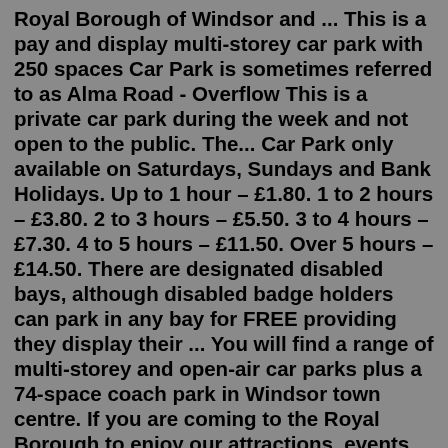Royal Borough of Windsor and ... This is a pay and display multi-storey car park with 250 spaces Car Park is sometimes referred to as Alma Road - Overflow This is a private car park during the week and not open to the public. The... Car Park only available on Saturdays, Sundays and Bank Holidays. Up to 1 hour – £1.80. 1 to 2 hours – £3.80. 2 to 3 hours – £5.50. 3 to 4 hours – £7.30. 4 to 5 hours – £11.50. Over 5 hours – £14.50. There are designated disabled bays, although disabled badge holders can park in any bay for FREE providing they display their ... You will find a range of multi-storey and open-air car parks plus a 74-space coach park in Windsor town centre. If you are coming to the Royal Borough to enjoy our attractions, events, shopping and...Undercover parking. Most convenient car park for Terminal 2. Close to the motorway. Need to know. Multi Storey T2 West is an 1-5 minute walk from check-in. When you arrive at the car park the barrier will recognise your number plate and lift automatically. Go in, park in any space, keep your